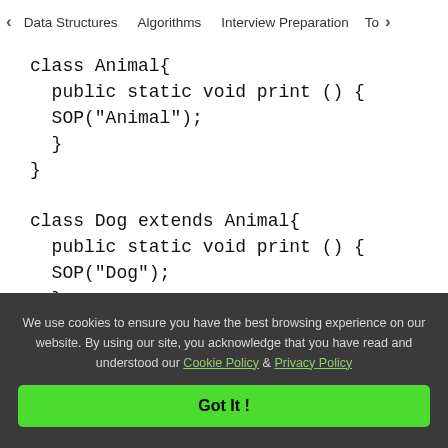< Data Structures   Algorithms   Interview Preparation   To>
class Animal{
    public static void print () {
    SOP("Animal");
    }
}

class Dog extends Animal{
    public static void print () {
    SOP("Dog");
    }
}
We use cookies to ensure you have the best browsing experience on our website. By using our site, you acknowledge that you have read and understood our Cookie Policy & Privacy Policy
Got It !